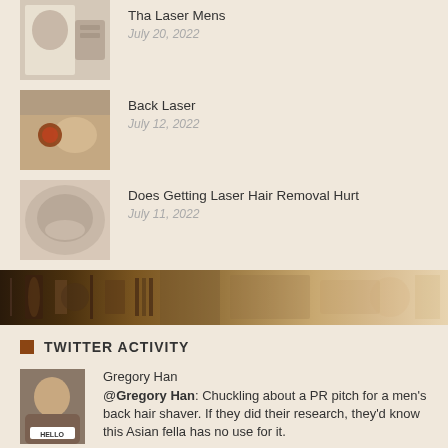Tha Laser Mens — July 20, 2022
Back Laser — July 12, 2022
Does Getting Laser Hair Removal Hurt — July 11, 2022
[Figure (photo): Decorative banner strip with brown and beige tones]
TWITTER ACTIVITY
Gregory Han
@Gregory Han: Chuckling about a PR pitch for a men's back hair shaver. If they did their research, they'd know this Asian fella has no use for it.
Friday 9, June 2017 05:58 PM